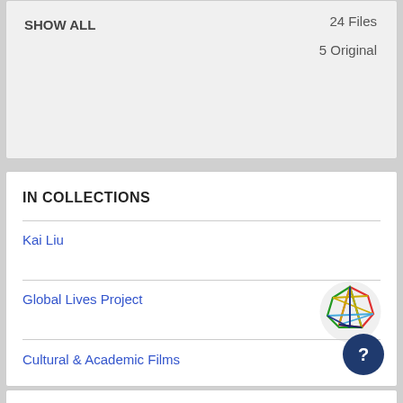SHOW ALL
24 Files
5 Original
IN COLLECTIONS
Kai Liu
Global Lives Project
[Figure (logo): Global Lives Project colorful geometric globe logo]
Cultural & Academic Films
[Figure (other): Dark blue circular help button with question mark]